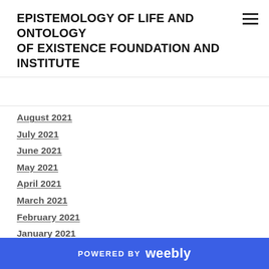EPISTEMOLOGY OF LIFE AND ONTOLOGY OF EXISTENCE FOUNDATION AND INSTITUTE
August 2021
July 2021
June 2021
May 2021
April 2021
March 2021
February 2021
January 2021
December 2020
November 2020
October 2020
August 2020
July 2020
POWERED BY weebly